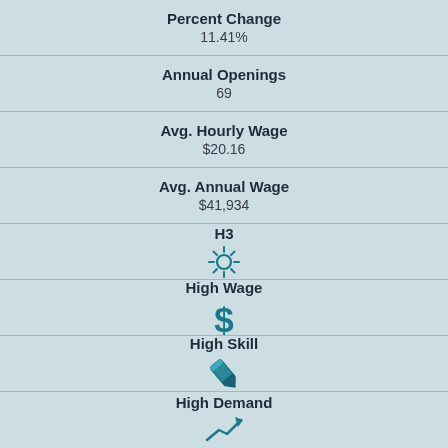Percent Change
11.41%
Annual Openings
69
Avg. Hourly Wage
$20.16
Avg. Annual Wage
$41,934
H3
[Figure (infographic): Sun/brightness icon indicating H3 rating]
High Wage
[Figure (infographic): Dollar sign icon indicating High Wage]
High Skill
[Figure (infographic): Pencil/tool icon indicating High Skill]
High Demand
[Figure (infographic): Arrow trending up icon indicating High Demand]